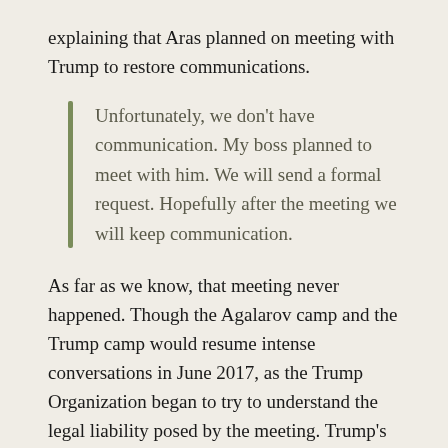explaining that Aras planned on meeting with Trump to restore communications.
Unfortunately, we don’t have communication. My boss planned to meet with him. We will send a formal request. Hopefully after the meeting we will keep communication.
As far as we know, that meeting never happened. Though the Agalarov camp and the Trump camp would resume intense conversations in June 2017, as the Trump Organization began to try to understand the legal liability posed by the meeting. Trump’s lawyers would speak directly with both Kaveladze and Goldstone before Agalarov’s lawyer, Scott